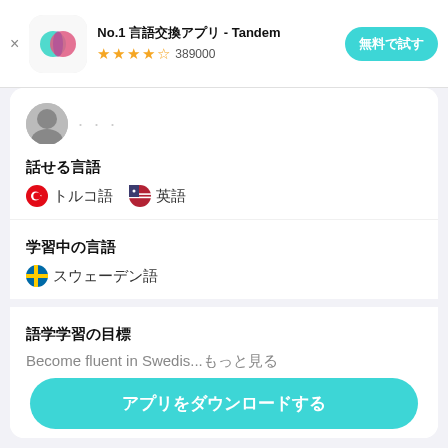[Figure (screenshot): Tandem app icon: overlapping teal and pink circles on white rounded square background]
No.1 言語交換アプリ - Tandem
★★★★☆ 389000
無料で試す
[Figure (photo): Partial profile photo of a person, cropped circle]
話せる言語
🇹🇷 トルコ語　🇺🇸 英語
学習中の言語
🇸🇪 スウェーデン語
語学学習の目標
Become fluent in Swedis...もっと見る
アプリをダウンロードする